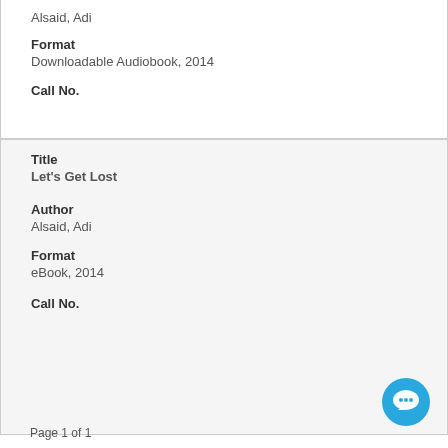Alsaid, Adi
Format
Downloadable Audiobook, 2014
Call No.
Title
Let's Get Lost
Author
Alsaid, Adi
Format
eBook, 2014
Call No.
Page 1 of 1